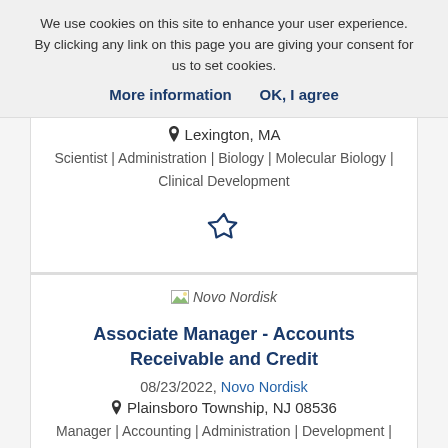We use cookies on this site to enhance your user experience. By clicking any link on this page you are giving your consent for us to set cookies.
More information    OK, I agree
Lexington, MA
Scientist | Administration | Biology | Molecular Biology | Clinical Development
[Figure (illustration): Hollow star icon (bookmark/favorite)]
[Figure (logo): Novo Nordisk company logo]
Associate Manager - Accounts Receivable and Credit
08/23/2022, Novo Nordisk
Plainsboro Township, NJ 08536
Manager | Accounting | Administration | Development | Management